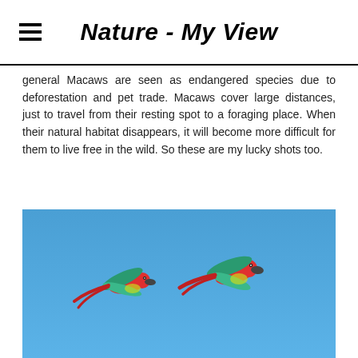Nature - My View
general Macaws are seen as endangered species due to deforestation and pet trade. Macaws cover large distances, just to travel from their resting spot to a foraging place. When their natural habitat disappears, it will become more difficult for them to live free in the wild. So these are my lucky shots too.
[Figure (photo): Two scarlet macaws flying in a clear blue sky, photographed from below. The birds display red, green, and teal plumage with red tail feathers.]